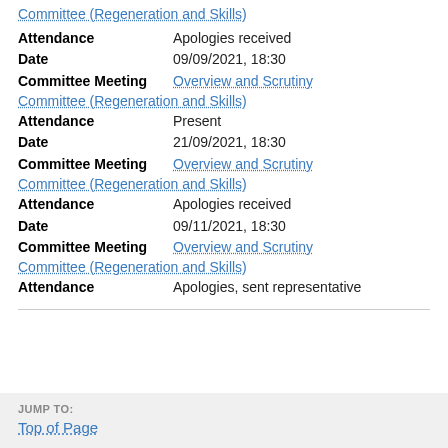Committee (Regeneration and Skills) [link at top]
Attendance: Apologies received
Date: 09/09/2021, 18:30
Committee Meeting: Overview and Scrutiny Committee (Regeneration and Skills)
Attendance: Present
Date: 21/09/2021, 18:30
Committee Meeting: Overview and Scrutiny Committee (Regeneration and Skills)
Attendance: Apologies received
Date: 09/11/2021, 18:30
Committee Meeting: Overview and Scrutiny Committee (Regeneration and Skills)
Attendance: Apologies, sent representative
JUMP TO: Top of Page